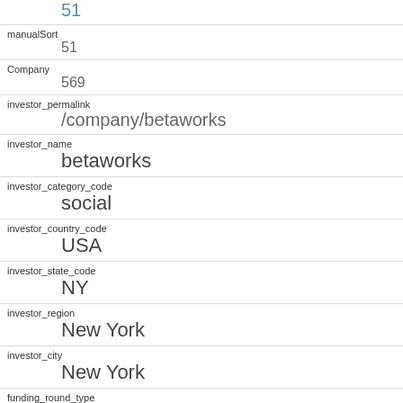51
manualSort
51
Company
569
investor_permalink
/company/betaworks
investor_name
betaworks
investor_category_code
social
investor_country_code
USA
investor_state_code
NY
investor_region
New York
investor_city
New York
funding_round_type
series-a